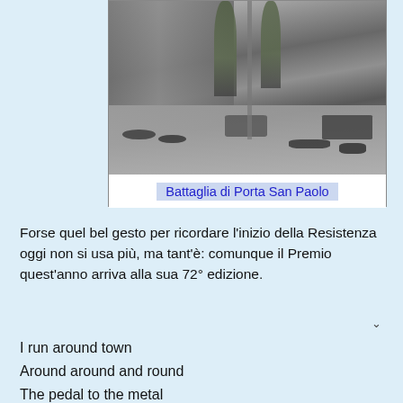[Figure (photo): Black and white historical photograph showing soldiers or people lying on a street near a city wall with trees, a cart, and military vehicles in the background. Caption reads 'Battaglia di Porta San Paolo'.]
Battaglia di Porta San Paolo
Forse quel bel gesto per ricordare l'inizio della Resistenza oggi non si usa più, ma tant'è: comunque il Premio quest'anno arriva alla sua 72° edizione.
I run around town
Around around and round
The pedal to the metal
The pedal to whatever